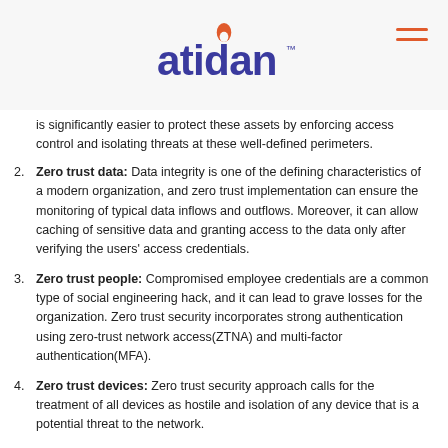atidan
is significantly easier to protect these assets by enforcing access control and isolating threats at these well-defined perimeters.
Zero trust data: Data integrity is one of the defining characteristics of a modern organization, and zero trust implementation can ensure the monitoring of typical data inflows and outflows. Moreover, it can allow caching of sensitive data and granting access to the data only after verifying the users' access credentials.
Zero trust people: Compromised employee credentials are a common type of social engineering hack, and it can lead to grave losses for the organization. Zero trust security incorporates strong authentication using zero-trust network access(ZTNA) and multi-factor authentication(MFA).
Zero trust devices: Zero trust security approach calls for the treatment of all devices as hostile and isolation of any device that is a potential threat to the network.
Zero trust workloads: Given that modern organizations are moving a majority of their infrastructure to the cloud, and